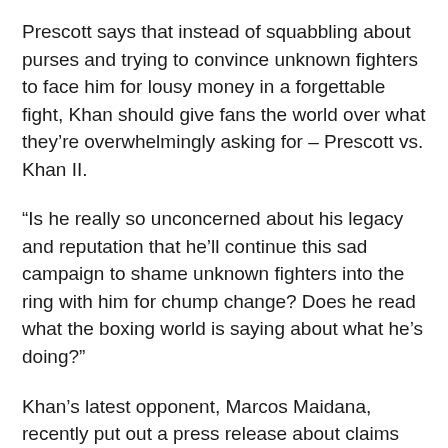Prescott says that instead of squabbling about purses and trying to convince unknown fighters to face him for lousy money in a forgettable fight, Khan should give fans the world over what they’re overwhelmingly asking for – Prescott vs. Khan II.
“Is he really so unconcerned about his legacy and reputation that he’ll continue this sad campaign to shame unknown fighters into the ring with him for chump change? Does he read what the boxing world is saying about what he’s doing?”
Khan’s latest opponent, Marcos Maidana, recently put out a press release about claims that potential foes are pricing themselves out of fighting Khan. “… he always has the money excuse prepared to be thrown out in case boxing fans and TV networks pressure him to face big challenges,” Maidana said.